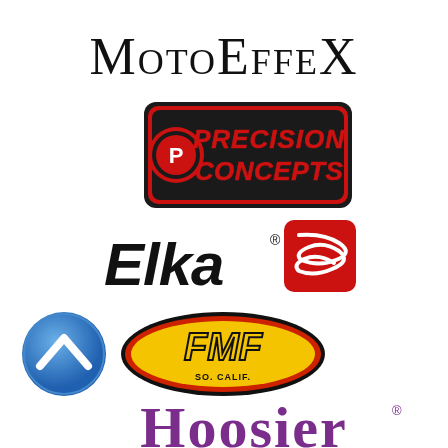[Figure (logo): MotoEffeX brand logo in black serif/display font on white background]
[Figure (logo): Precision Concepts logo with red and black bold italic text, circular P emblem on left, black rounded rectangle background]
[Figure (logo): Elka logo with black bold italic text and red rounded rectangle with white spring coil icon on right]
[Figure (logo): Blue circle icon with white chevron/arrow pointing up (Acerbis or similar brand)]
[Figure (logo): FMF Racing logo - yellow oval with red border, bold yellow FMF letters, black outline, SO. CALIF. text below]
[Figure (logo): Hoosier brand logo in purple ornate/gothic display font with registered trademark symbol]